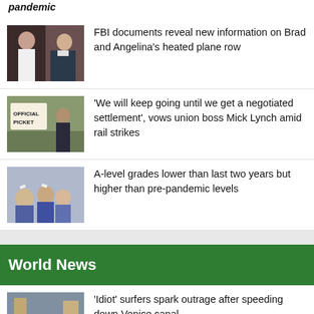pandemic
[Figure (photo): Photo of a couple, man in suit and woman, at a movie premiere]
FBI documents reveal new information on Brad and Angelina’s heated plane row
[Figure (photo): Official Picket sign held at a strike]
‘We will keep going until we get a negotiated settlement’, vows union boss Mick Lynch amid rail strikes
[Figure (photo): Students celebrating A-level results, waving papers]
A-level grades lower than last two years but higher than pre-pandemic levels
World News
[Figure (photo): Person on a paddleboard speeding down a Venice canal]
‘Idiot’ surfers spark outrage after speeding down Venice canal